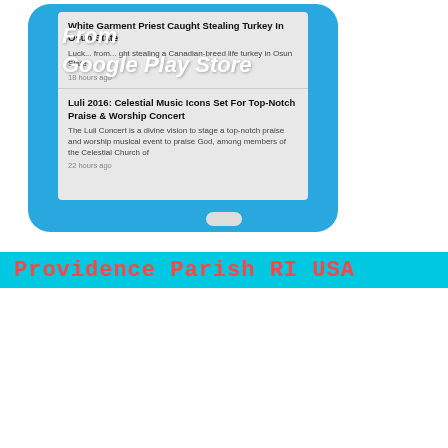[Figure (screenshot): Screenshot of a mobile phone app showing news articles, overlaid with italic white text 'From Google Play Store' on a blue background phone mockup]
From
Google Play Store
White Garment Priest Caught Stealing Turkey In Osun State
Luck... from... ght stealing a Canadian-breed life turkey in Osun State
18 hours ago
Luli 2016: Celestial Music Icons Set For Top-Notch Praise & Worship Concert
The Luli Concert is a divine vision to stage a top-notch praise and worship musical event to praise God, among members of the Celestial Church of
22 hours ago
Providence Parish RI USA
[Figure (photo): Providence Parish promotional photo showing a rainbow, Jesus figure, wheat stalks, and text '34th Annual Adult Harvest Thanksgiving Service' on a blue-green background]